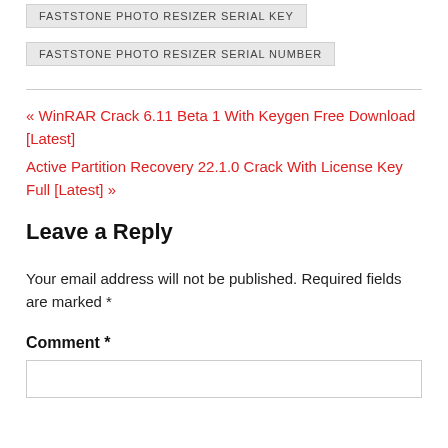FASTSTONE PHOTO RESIZER SERIAL KEY
FASTSTONE PHOTO RESIZER SERIAL NUMBER
« WinRAR Crack 6.11 Beta 1 With Keygen Free Download [Latest]
Active Partition Recovery 22.1.0 Crack With License Key Full [Latest] »
Leave a Reply
Your email address will not be published. Required fields are marked *
Comment *